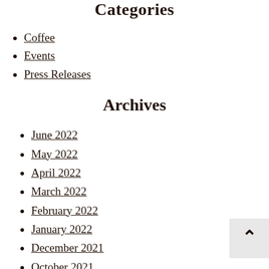Categories
Coffee
Events
Press Releases
Archives
June 2022
May 2022
April 2022
March 2022
February 2022
January 2022
December 2021
October 2021
September 2021
August 2021